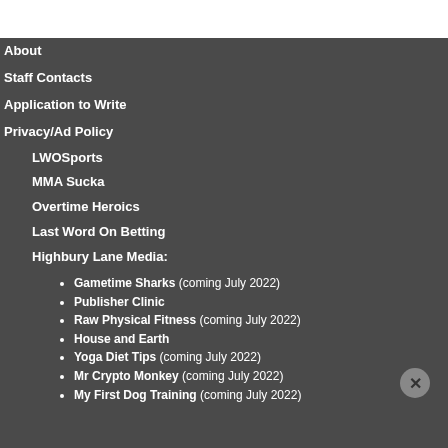About
Staff Contacts
Application to Write
Privacy/Ad Policy
LWOSports
MMA Sucka
Overtime Heroics
Last Word On Betting
Highbury Lane Media:
Gametime Sharks (coming July 2022)
Publisher Clinic
Raw Physical Fitness (coming July 2022)
House and Earth
Yoga Diet Tips (coming July 2022)
Mr Crypto Monkey (coming July 2022)
My First Dog Training (coming July 2022)